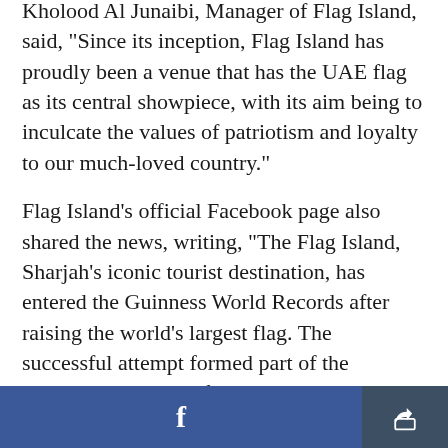Kholood Al Junaibi, Manager of Flag Island, said, "Since its inception, Flag Island has proudly been a venue that has the UAE flag as its central showpiece, with its aim being to inculcate the values of patriotism and loyalty to our much-loved country."
Flag Island's official Facebook page also shared the news, writing, "The Flag Island, Sharjah's iconic tourist destination, has entered the Guinness World Records after raising the world's largest flag. The successful attempt formed part of the spectacular national festivities the island organized on
f [share]